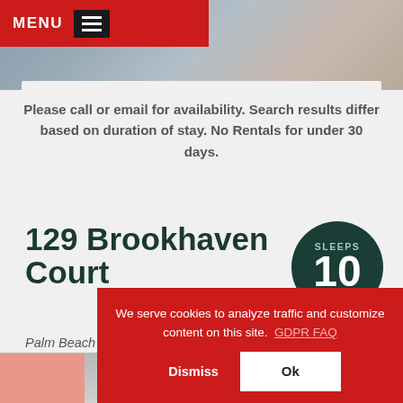MENU
[Figure (photo): Top decorative image showing gray/blue textured pillows or knitted fabric]
Please call or email for availability. Search results differ based on duration of stay. No Rentals for under 30 days.
129 Brookhaven Court
Palm Beach Gardens, FL 33418
[Figure (infographic): Dark green circular badge with SLEEPS 10]
RATES FROM
We serve cookies to analyze traffic and customize content on this site.  GDPR FAQ
Dismiss
Ok
[Figure (photo): Bottom partial image of interior space]